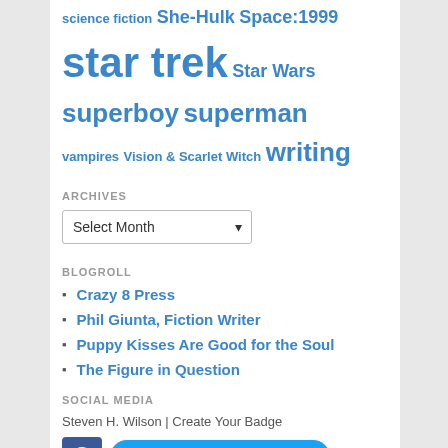science fiction  She-Hulk  Space:1999  star trek  Star Wars  superboy  superman  vampires  Vision & Scarlet Witch  writing
ARCHIVES
Select Month (dropdown)
BLOGROLL
Crazy 8 Press
Phil Giunta, Fiction Writer
Puppy Kisses Are Good for the Soul
The Figure in Question
SOCIAL MEDIA
Steven H. Wilson | Create Your Badge
[Figure (logo): Facebook logo icon (blue square with white F)]
Follow @StevenHWilson (Twitter button)
Goodreads